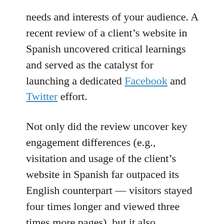needs and interests of your audience. A recent review of a client's website in Spanish uncovered critical learnings and served as the catalyst for launching a dedicated Facebook and Twitter effort.
Not only did the review uncover key engagement differences (e.g., visitation and usage of the client's website in Spanish far outpaced its English counterpart — visitors stayed four times longer and viewed three times more pages), but it also discovered navigation to a feature and service not yet available in English. This prompted the company to provide this service.